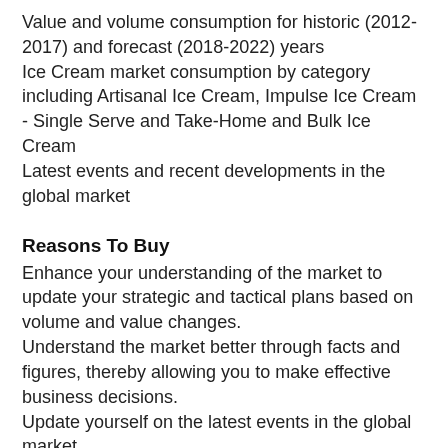Value and volume consumption for historic (2012-2017) and forecast (2018-2022) years
Ice Cream market consumption by category including Artisanal Ice Cream, Impulse Ice Cream - Single Serve and Take-Home and Bulk Ice Cream
Latest events and recent developments in the global market
Reasons To Buy
Enhance your understanding of the market to update your strategic and tactical plans based on volume and value changes.
Understand the market better through facts and figures, thereby allowing you to make effective business decisions.
Update yourself on the latest events in the global market.